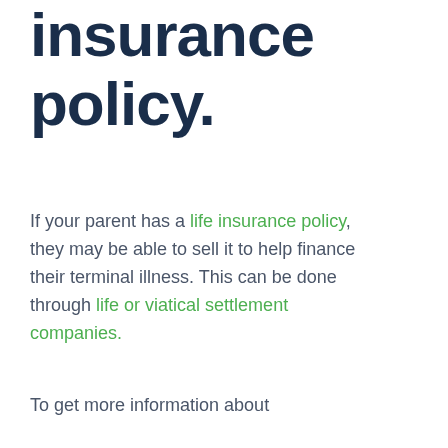insurance policy.
If your parent has a life insurance policy, they may be able to sell it to help finance their terminal illness. This can be done through life or viatical settlement companies.
To get more information about